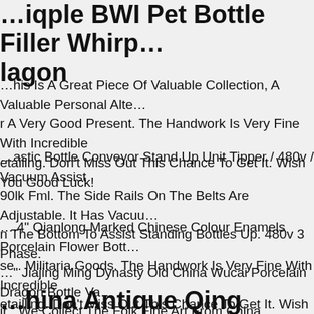…iqple BWI Pet Bottle Filler Whisp…lagon
…his Is A Great Piece Of Valuable Collection, A Valuable Personal Alte… r A Very Good Present. The Handwork Is Very Fine With Incredible etailing. Don't Miss Out This Chance To Get It. Wish You Good Luck!
…astic Bottle Conveyor Stand Up Unit Tipper / 480v / Vacuum Assist 90lk Fml. The Side Rails On The Belts Are Adjustable. It Has Vacuu… n The Bottom To Assist Standing Bottles Up. 480v 3 Phase.
….4" Qianlong Marked Chinese Colour Enamels Porcelain Flower Bott… se . Militaria Goods. The Handwork Is Very Fine With Incredible etailling. Don't Miss Out This Chance To Get It. Wish You Good Luck!
…" Jiajing Ming Dynasty Old China Wucai Porcelain Dragon Bottle Va… ir . We Collect The Folk Fine Art From China.
…hina Antique Qing Dynasty Qianlong… …d Color Decor Animal Foo Bott…